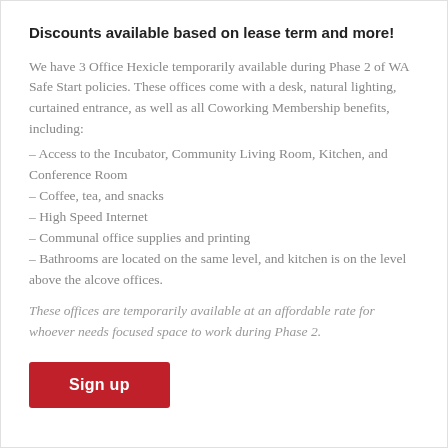Discounts available based on lease term and more!
We have 3 Office Hexicle temporarily available during Phase 2 of WA Safe Start policies. These offices come with a desk, natural lighting, curtained entrance, as well as all Coworking Membership benefits, including:
– Access to the Incubator, Community Living Room, Kitchen, and Conference Room
– Coffee, tea, and snacks
– High Speed Internet
– Communal office supplies and printing
– Bathrooms are located on the same level, and kitchen is on the level above the alcove offices.
These offices are temporarily available at an affordable rate for whoever needs focused space to work during Phase 2.
Sign up